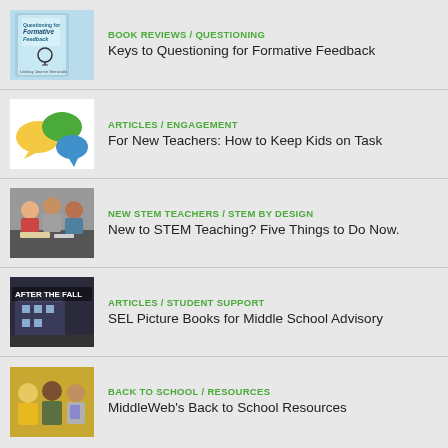BOOK REVIEWS / QUESTIONING — Keys to Questioning for Formative Feedback
ARTICLES / ENGAGEMENT — For New Teachers: How to Keep Kids on Task
NEW STEM TEACHERS / STEM BY DESIGN — New to STEM Teaching? Five Things to Do Now.
ARTICLES / STUDENT SUPPORT — SEL Picture Books for Middle School Advisory
BACK TO SCHOOL / RESOURCES — MiddleWeb's Back to School Resources